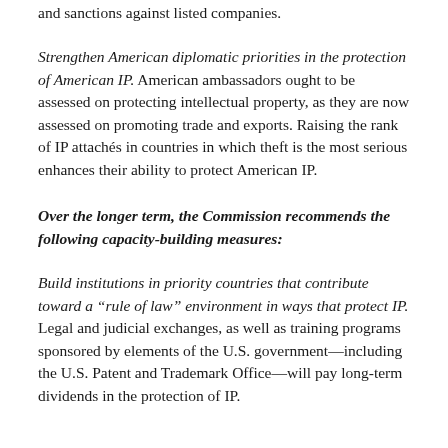and sanctions against listed companies.
Strengthen American diplomatic priorities in the protection of American IP. American ambassadors ought to be assessed on protecting intellectual property, as they are now assessed on promoting trade and exports. Raising the rank of IP attachés in countries in which theft is the most serious enhances their ability to protect American IP.
Over the longer term, the Commission recommends the following capacity-building measures:
Build institutions in priority countries that contribute toward a "rule of law" environment in ways that protect IP. Legal and judicial exchanges, as well as training programs sponsored by elements of the U.S. government—including the U.S. Patent and Trademark Office—will pay long-term dividends in the protection of IP.